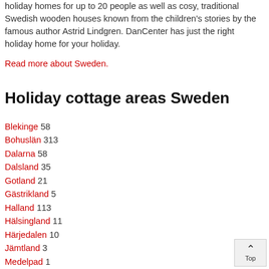holiday homes for up to 20 people as well as cosy, traditional Swedish wooden houses known from the children's stories by the famous author Astrid Lindgren. DanCenter has just the right holiday home for your holiday.
Read more about Sweden.
Holiday cottage areas Sweden
Blekinge 58
Bohuslän 313
Dalarna 58
Dalsland 35
Gotland 21
Gästrikland 5
Halland 113
Hälsingland 11
Härjedalen 10
Jämtland 3
Medelpad 1
Norrbotten 4
Närke 18